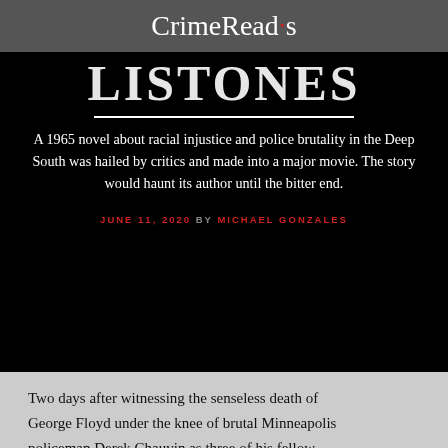CrimeReads
LISTONES
A 1965 novel about racial injustice and police brutality in the Deep South was hailed by critics and made into a major movie. The story would haunt its author until the bitter end.
JUNE 11, 2020 BY MICHAEL GONZALES
Two days after witnessing the senseless death of George Floyd under the knee of brutal Minneapolis policeman Derek Chauvin as three of his fellow